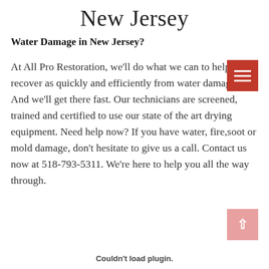New Jersey
Water Damage in New Jersey?
At All Pro Restoration, we’ll do what we can to help you recover as quickly and efficiently from water damage. And we’ll get there fast. Our technicians are screened, trained and certified to use our state of the art drying equipment. Need help now? If you have water, fire,soot or mold damage, don’t hesitate to give us a call. Contact us now at 518-793-5311. We’re here to help you all the way through.
Couldn’t load plugin.